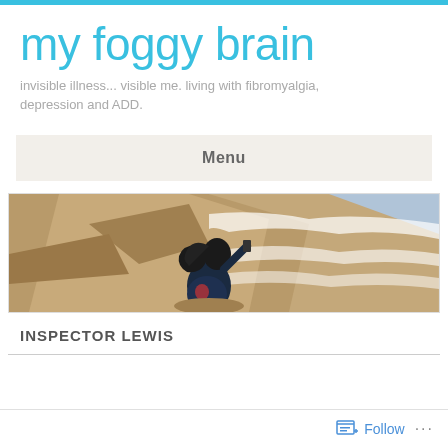my foggy brain
invisible illness... visible me. living with fibromyalgia, depression and ADD.
Menu
[Figure (photo): Aerial/overhead view of a woman in a dark hoodie standing on a rocky cliff, taking a photo with her phone, with ocean waves and rock formations visible below and to the right.]
INSPECTOR LEWIS
Follow ...